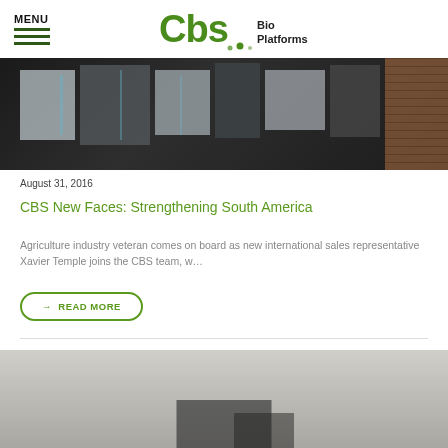MENU | CBS Bio Platforms
[Figure (photo): Close-up photo of geometric patterned fabric or packaging material in gray and dark tones, with brick wall visible in the background]
August 31, 2016
CBS New Faces: Strengthening South America
Agriculture industry veteran comes on board as new international sales representative Xavier Temple joins the CBS team, w…
→ READ MORE
[Figure (photo): Partial view of a gray/neutral background photo, possibly showing agricultural or outdoor equipment/setting, cropped at bottom of page]